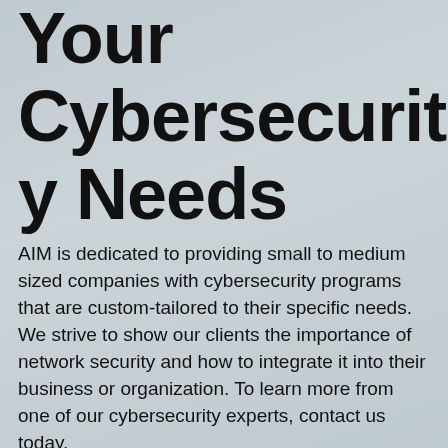Your Cybersecurity Needs
AIM is dedicated to providing small to medium sized companies with cybersecurity programs that are custom-tailored to their specific needs. We strive to show our clients the importance of network security and how to integrate it into their business or organization. To learn more from one of our cybersecurity experts, contact us today.
GET IN TOUCH